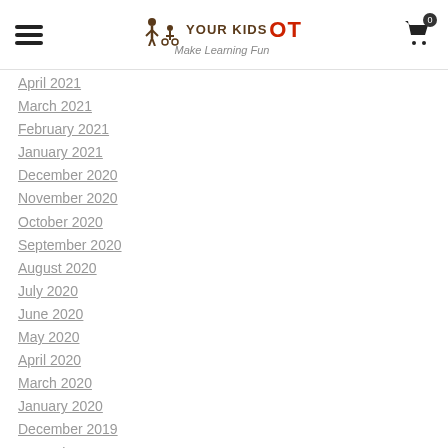YOUR KIDS OT — Make Learning Fun — navigation header with hamburger menu and cart
April 2021
March 2021
February 2021
January 2021
December 2020
November 2020
October 2020
September 2020
August 2020
July 2020
June 2020
May 2020
April 2020
March 2020
January 2020
December 2019
November 2019
October 2019
August 2019